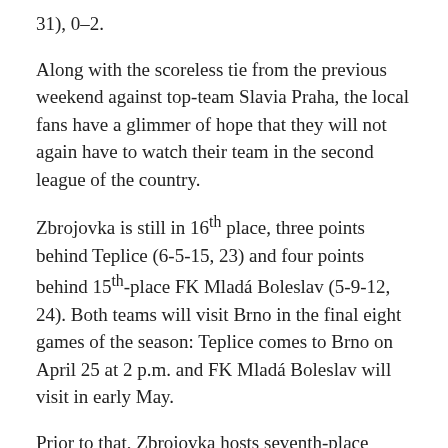31), 0–2.
Along with the scoreless tie from the previous weekend against top-team Slavia Praha, the local fans have a glimmer of hope that they will not again have to watch their team in the second league of the country.
Zbrojovka is still in 16th place, three points behind Teplice (6-5-15, 23) and four points behind 15th-place FK Mladá Boleslav (5-9-12, 24). Both teams will visit Brno in the final eight games of the season: Teplice comes to Brno on April 25 at 2 p.m. and FK Mladá Boleslav will visit in early May.
Prior to that, Zbrojovka hosts seventh-place Pardubice (11-5-10, 38) on Sunday at 2 p.m. and goes to third-place Uherske Hradiste to play Moravian rival 1.FC Slovácko (15-5-6, 50) next Wednesday at 2 p.m.